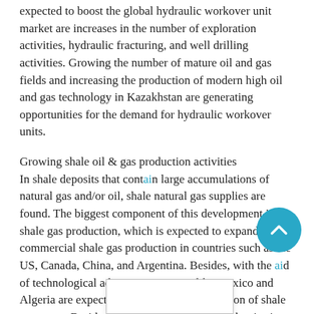expected to boost the global hydraulic workover unit market are increases in the number of exploration activities, hydraulic fracturing, and well drilling activities. Growing the number of mature oil and gas fields and increasing the production of modern high oil and gas technology in Kazakhstan are generating opportunities for the demand for hydraulic workover units.
Growing shale oil & gas production activities
In shale deposits that contain large accumulations of natural gas and/or oil, shale natural gas supplies are found. The biggest component of this development is shale gas production, which is expected to expand, and commercial shale gas production in countries such as the US, Canada, China, and Argentina. Besides, with the aid of technological advances, countries like Mexico and Algeria are expected to promote the production of shale resources. Besides, foreign investment is on the rise in Argentina, so the shortage of advanced rigs and fracking equipment is needed to be addressed. Revising investment rules, the Algerian government plans to expand the development of shale gas ar s well project. After